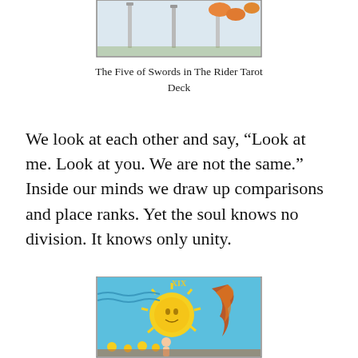[Figure (illustration): Top portion of a tarot card (Five of Swords from the Rider Tarot Deck) showing feet and swords against a light background]
The Five of Swords in The Rider Tarot Deck
We look at each other and say, “Look at me. Look at you. We are not the same.” Inside our minds we draw up comparisons and place ranks. Yet the soul knows no division. It knows only unity.
[Figure (illustration): The Sun tarot card (XIX) from the Rider Tarot Deck showing the sun with a face, sunflowers, and a child on horseback with a large feather/flame decoration]